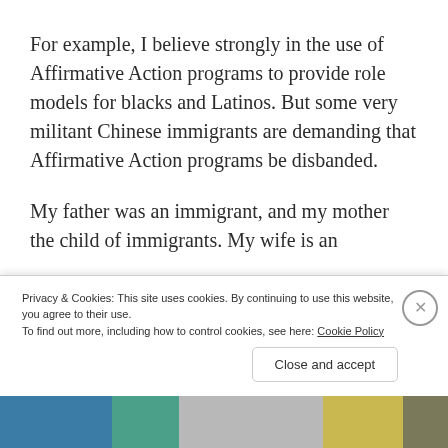For example, I believe strongly in the use of Affirmative Action programs to provide role models for blacks and Latinos. But some very militant Chinese immigrants are demanding that Affirmative Action programs be disbanded.
My father was an immigrant, and my mother the child of immigrants. My wife is an
Privacy & Cookies: This site uses cookies. By continuing to use this website, you agree to their use.
To find out more, including how to control cookies, see here: Cookie Policy
Close and accept